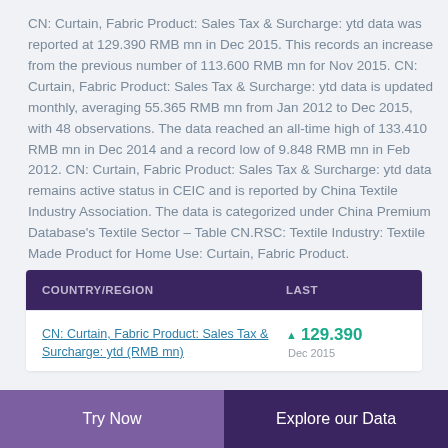CN: Curtain, Fabric Product: Sales Tax & Surcharge: ytd data was reported at 129.390 RMB mn in Dec 2015. This records an increase from the previous number of 113.600 RMB mn for Nov 2015. CN: Curtain, Fabric Product: Sales Tax & Surcharge: ytd data is updated monthly, averaging 55.365 RMB mn from Jan 2012 to Dec 2015, with 48 observations. The data reached an all-time high of 133.410 RMB mn in Dec 2014 and a record low of 9.848 RMB mn in Feb 2012. CN: Curtain, Fabric Product: Sales Tax & Surcharge: ytd data remains active status in CEIC and is reported by China Textile Industry Association. The data is categorized under China Premium Database's Textile Sector – Table CN.RSC: Textile Industry: Textile Made Product for Home Use: Curtain, Fabric Product.
| COUNTRY/REGION | LAST |
| --- | --- |
| CN: Curtain, Fabric Product: Sales Tax & Surcharge: ytd (RMB mn) | ▲ 129.390
Dec 2015 |
Try Now | Explore our Data